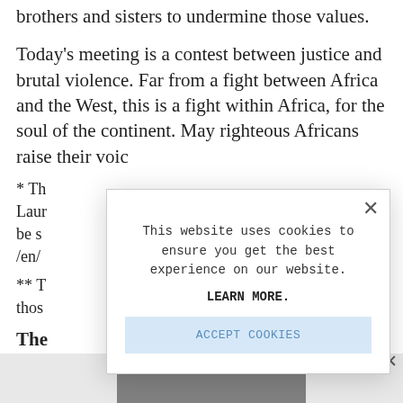brothers and sisters to undermine those values.
Today's meeting is a contest between justice and brutal violence. Far from a fight between Africa and the West, this is a fight within Africa, for the soul of the continent. May righteous Africans raise their voic
* Th Laur be s /en/
** T thos
The
[Figure (screenshot): Cookie consent modal dialog box overlaying the article text. The modal contains: a close X button in the top right, the text 'This website uses cookies to ensure you get the best experience on our website.', bold text 'LEARN MORE.', and a light blue 'ACCEPT COOKIES' button. A partial close X is visible at the right edge of the page below the modal.]